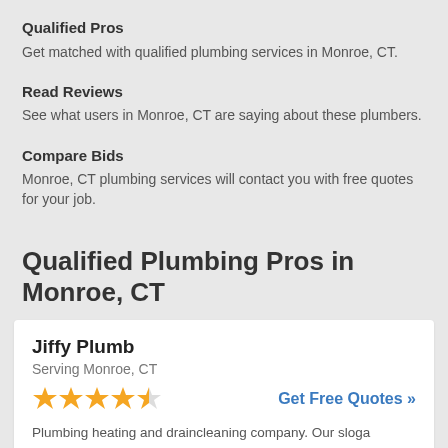Qualified Pros
Get matched with qualified plumbing services in Monroe, CT.
Read Reviews
See what users in Monroe, CT are saying about these plumbers.
Compare Bids
Monroe, CT plumbing services will contact you with free quotes for your job.
Qualified Plumbing Pros in Monroe, CT
Jiffy Plumb
Serving Monroe, CT
Get Free Quotes »
Plumbing heating and draincleaning company. Our slogan is DON'T BE DUMB..........CALL JIFFYPLUMB Over the years s heard many plumbing horror stories, which has caused us to